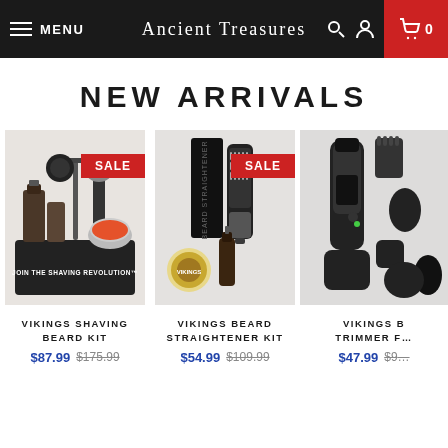MENU  ANCIENT TREASURES  0
NEW ARRIVALS
[Figure (photo): Vikings Shaving Beard Kit product photo with shaving tools, oils, brush, and stand in a black tin box labeled 'Join the Shaving Revolution']
SALE
VIKINGS SHAVING BEARD KIT
$87.99 $175.99
[Figure (photo): Vikings Beard Straightener Kit product photo with a beard straightener brush, oil bottle, and balm tin]
SALE
VIKINGS BEARD STRAIGHTENER KIT
$54.99 $109.99
[Figure (photo): Vikings Beard Trimmer product photo with electric trimmer and multiple attachments]
VIKINGS B TRIMMER F
$47.99 $5